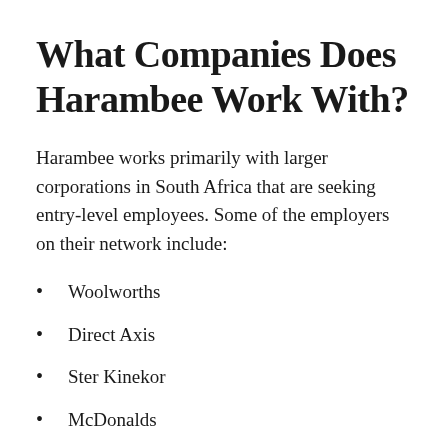What Companies Does Harambee Work With?
Harambee works primarily with larger corporations in South Africa that are seeking entry-level employees. Some of the employers on their network include:
Woolworths
Direct Axis
Ster Kinekor
McDonalds